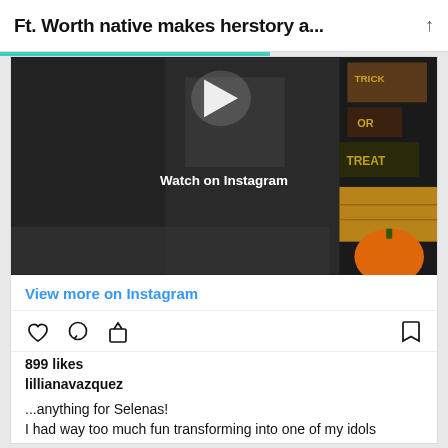Ft. Worth native makes herstory a...
[Figure (screenshot): Instagram video thumbnail showing a person in a sparkly costume with Halloween decorations in the background. Overlay text reads 'Watch on Instagram' with a play button triangle.]
View more on Instagram
899 likes
lillianavazquez
...anything for Selenas!
I had way too much fun transforming into one of my idols